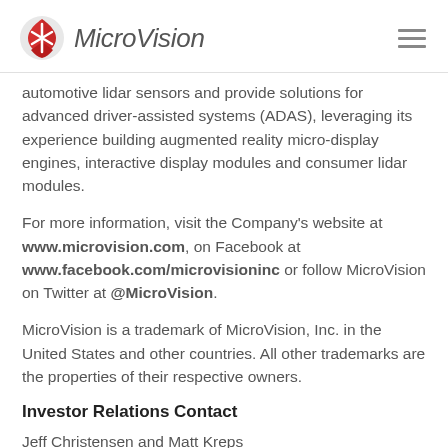MicroVision
automotive lidar sensors and provide solutions for advanced driver-assisted systems (ADAS), leveraging its experience building augmented reality micro-display engines, interactive display modules and consumer lidar modules.
For more information, visit the Company's website at www.microvision.com, on Facebook at www.facebook.com/microvisioninc or follow MicroVision on Twitter at @MicroVision.
MicroVision is a trademark of MicroVision, Inc. in the United States and other countries. All other trademarks are the properties of their respective owners.
Investor Relations Contact
Jeff Christensen and Matt Kreps